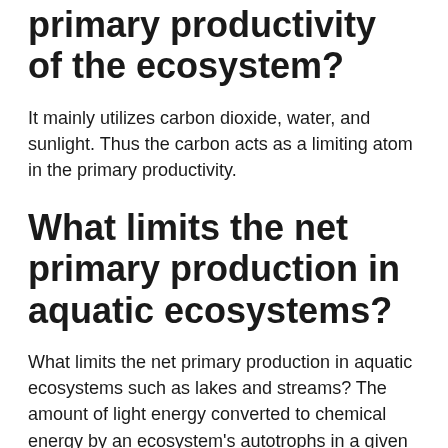primary productivity of the ecosystem?
It mainly utilizes carbon dioxide, water, and sunlight. Thus the carbon acts as a limiting atom in the primary productivity.
What limits the net primary production in aquatic ecosystems?
What limits the net primary production in aquatic ecosystems such as lakes and streams? The amount of light energy converted to chemical energy by an ecosystem's autotrophs in a given time period is an ecosystem's primary production, limits the net primary production in aquatic